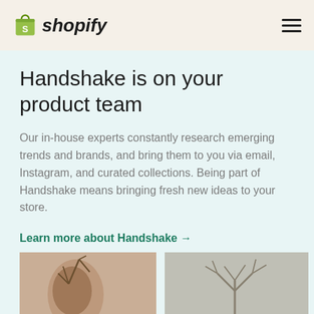Shopify
Handshake is on your product team
Our in-house experts constantly research emerging trends and brands, and bring them to you via email, Instagram, and curated collections. Being part of Handshake means bringing fresh new ideas to your store.
Learn more about Handshake →
[Figure (photo): Left photo showing a partial face/person with antler-like branches in foreground, warm beige tones]
[Figure (photo): Right photo showing antler-like branches on a light grey background]